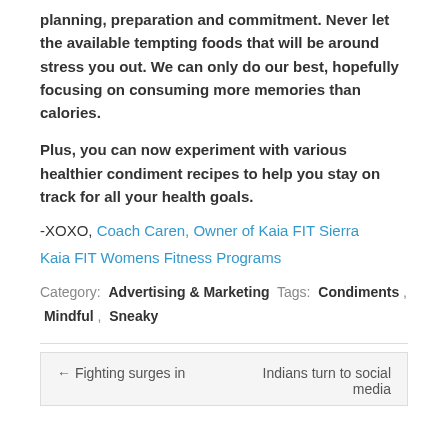planning, preparation and commitment. Never let the available tempting foods that will be around stress you out. We can only do our best, hopefully focusing on consuming more memories than calories.
Plus, you can now experiment with various healthier condiment recipes to help you stay on track for all your health goals.
-XOXO, Coach Caren, Owner of Kaia FIT Sierra
Kaia FIT Womens Fitness Programs
Category: Advertising & Marketing  Tags: Condiments , Mindful , Sneaky
← Fighting surges in
Indians turn to social media